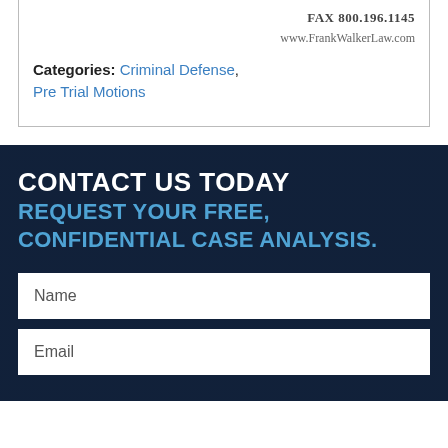FAX 800.196.1145
www.FrankWalkerLaw.com
Categories: Criminal Defense, Pre Trial Motions
CONTACT US TODAY
REQUEST YOUR FREE, CONFIDENTIAL CASE ANALYSIS.
Name
Email